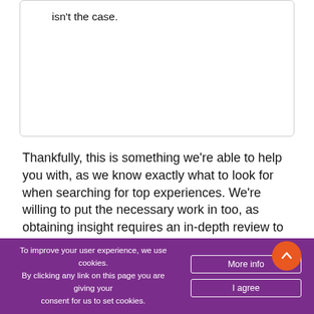isn't the case.
Thankfully, this is something we're able to help you with, as we know exactly what to look for when searching for top experiences. We're willing to put the necessary work in too, as obtaining insight requires an in-depth review to be carried out on every site – so this is what we do.
So, what's needed from you, the reader? Actually, all you have to do is bookmark us and refer back when you need guidance. It really is that simple to get access to online casinos that deserve your custom and
To improve your user experience, we use cookies. By clicking any link on this page you are giving your consent for us to set cookies.
More info
I agree